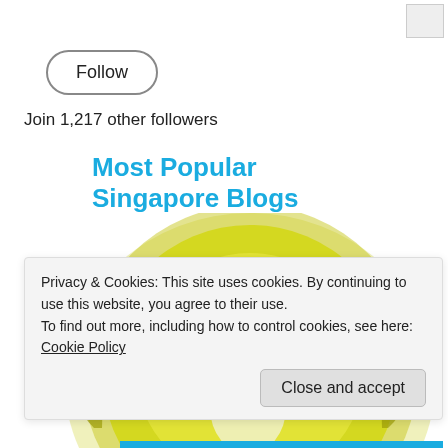[Figure (other): Follow button — rounded pill-shaped button with 'Follow' text]
Join 1,217 other followers
[Figure (illustration): Most Popular Singapore Blogs badge awarded by TheSmartLocal.com — gold medallion with Native American chief headdress on a lightbulb, surrounded by laurel wreath, with red ribbon at bottom. Title text reads 'Most Popular Singapore Blogs' in bold blue.]
Privacy & Cookies: This site uses cookies. By continuing to use this website, you agree to their use.
To find out more, including how to control cookies, see here: Cookie Policy
[Figure (other): Close and accept button]